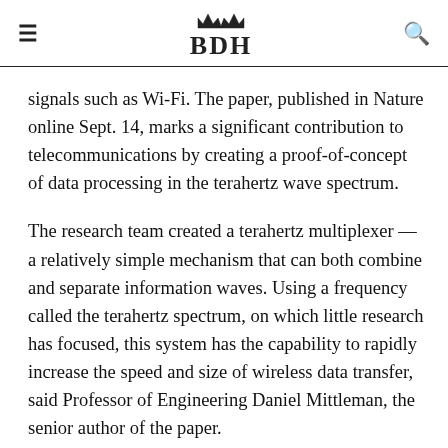BDH
signals such as Wi-Fi. The paper, published in Nature online Sept. 14, marks a significant contribution to telecommunications by creating a proof-of-concept of data processing in the terahertz wave spectrum.
The research team created a terahertz multiplexer — a relatively simple mechanism that can both combine and separate information waves. Using a frequency called the terahertz spectrum, on which little research has focused, this system has the capability to rapidly increase the speed and size of wireless data transfer, said Professor of Engineering Daniel Mittleman, the senior author of the paper.